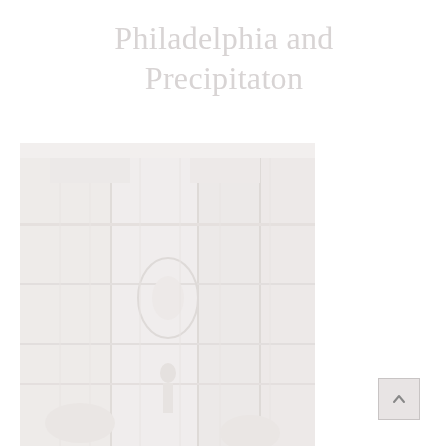Philadelphia and Precipitaton
[Figure (photo): A very faint, washed-out photograph of a city street scene, likely Philadelphia, showing buildings and street-level detail in extremely light tones.]